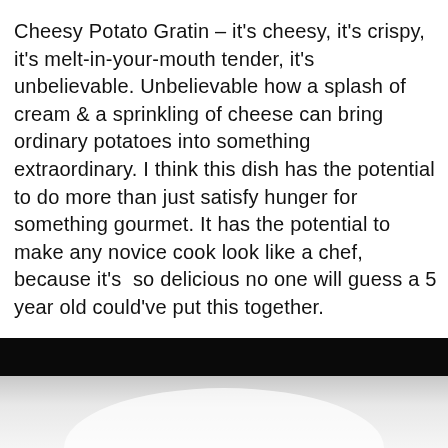Cheesy Potato Gratin – it's cheesy, it's crispy, it's melt-in-your-mouth tender, it's unbelievable. Unbelievable how a splash of cream & a sprinkling of cheese can bring ordinary potatoes into something extraordinary. I think this dish has the potential to do more than just satisfy hunger for something gourmet. It has the potential to make any novice cook look like a chef, because it's  so delicious no one will guess a 5 year old could've put this together.
[Figure (photo): Bottom portion of page showing a dark black bar at the top transitioning to a light grey/white curved surface below, likely a dish or bowl photographed from above.]